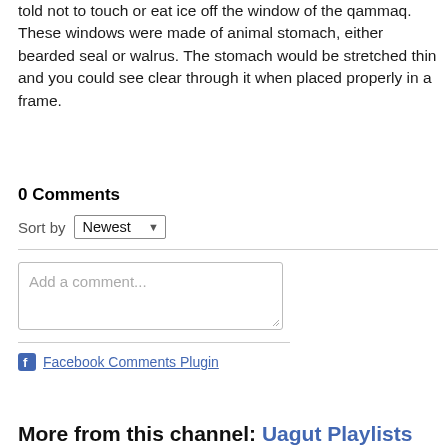told not to touch or eat ice off the window of the qammaq. These windows were made of animal stomach, either bearded seal or walrus. The stomach would be stretched thin and you could see clear through it when placed properly in a frame.
0 Comments
Sort by Newest
Add a comment...
Facebook Comments Plugin
More from this channel: Uagut Playlists